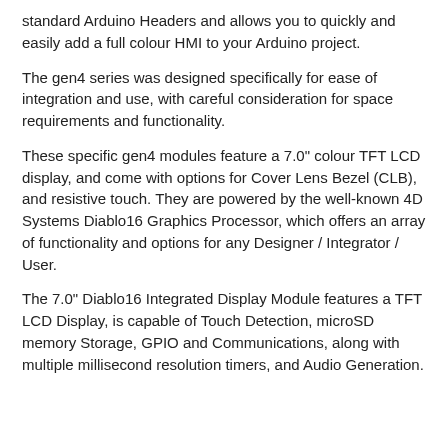standard Arduino Headers and allows you to quickly and easily add a full colour HMI to your Arduino project.
The gen4 series was designed specifically for ease of integration and use, with careful consideration for space requirements and functionality.
These specific gen4 modules feature a 7.0" colour TFT LCD display, and come with options for Cover Lens Bezel (CLB), and resistive touch. They are powered by the well-known 4D Systems Diablo16 Graphics Processor, which offers an array of functionality and options for any Designer / Integrator / User.
The 7.0" Diablo16 Integrated Display Module features a TFT LCD Display, is capable of Touch Detection, microSD memory Storage, GPIO and Communications, along with multiple millisecond resolution timers, and Audio Generation.